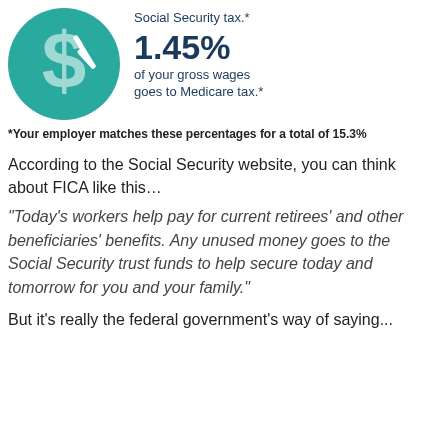[Figure (illustration): Teal circle with a large white dollar sign icon]
Social Security tax.*
1.45%
of your gross wages goes to Medicare tax.*
*Your employer matches these percentages for a total of 15.3%
According to the Social Security website, you can think about FICA like this…
“Today’s workers help pay for current retirees’ and other beneficiaries’ benefits. Any unused money goes to the Social Security trust funds to help secure today and tomorrow for you and your family.”
But it’s really the federal government’s way of saying...